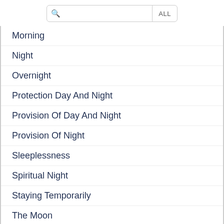[Figure (screenshot): Search bar with magnifying glass icon and ALL button]
Morning
Night
Overnight
Protection Day And Night
Provision Of Day And Night
Provision Of Night
Sleeplessness
Spiritual Night
Staying Temporarily
The Moon